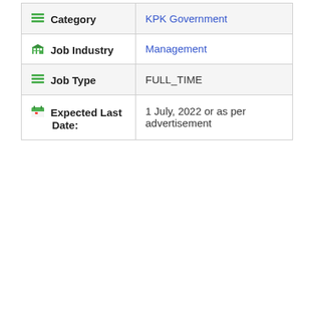| Field | Value |
| --- | --- |
| Category | KPK Government |
| Job Industry | Management |
| Job Type | FULL_TIME |
| Expected Last Date: | 1 July, 2022 or as per advertisement |